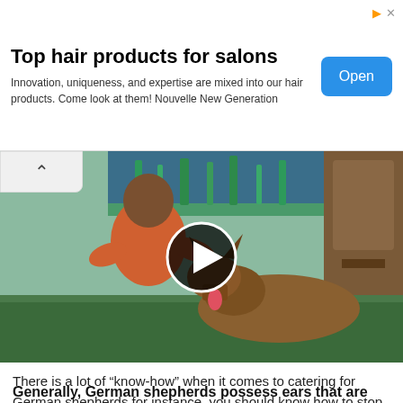Top hair products for salons
Innovation, uniqueness, and expertise are mixed into our hair products. Come look at them! Nouvelle New Generation
[Figure (photo): Video thumbnail showing a man in an orange t-shirt sitting cross-legged with a German Shepherd dog lying in front of him, with an aquarium and wooden cabinet in the background, with a play button overlay.]
There is a lot of “know-how” when it comes to catering for German shepherds for instance, you should know how to stop a German shepherd from shedding and how to clean German shepherd puppy ears.
Generally, German shepherds possess ears that are large